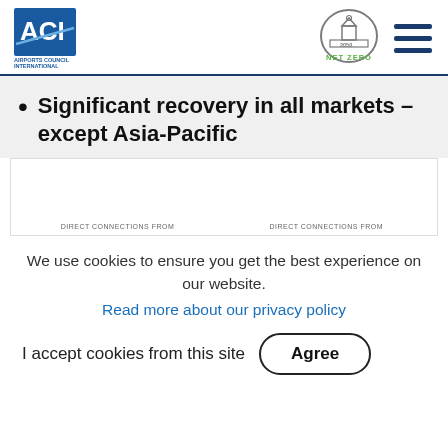ACI Europe — Airports Council International | NET ZERO 2050
Significant recovery in all markets – except Asia-Pacific
[Figure (other): Partial chart showing 'DIRECT CONNECTIONS FROM' labels at the bottom, content mostly hidden]
We use cookies to ensure you get the best experience on our website.
Read more about our privacy policy
I accept cookies from this site
Agree